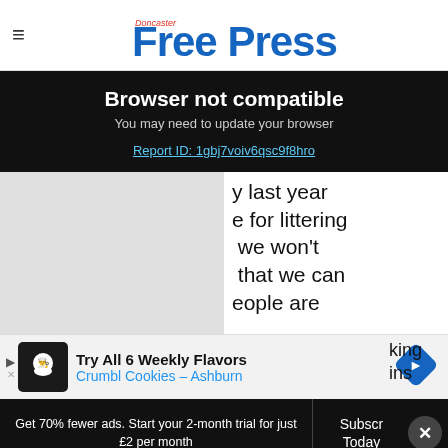Doncaster Free Press
Browser not compatible
You may need to update your browser
Report ID: 1gbj7voiv6qsc9f8hro
y last year e for littering we won't that we can eople are
[Figure (screenshot): Grey placeholder image for article]
king ins
Try All 6 Weekly Flavors Crumbl Cookies – Ashburn
Get 70% fewer ads. Start your 2-month trial for just £2 per month
Subscr Today